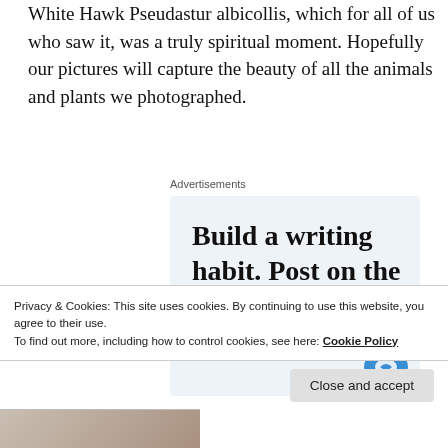White Hawk Pseudastur albicollis, which for all of us who saw it, was a truly spiritual moment. Hopefully our pictures will capture the beauty of all the animals and plants we photographed.
Advertisements
[Figure (other): Advertisement box with text 'Build a writing habit. Post on the go.' on light blue background with a circular icon at bottom right]
Privacy & Cookies: This site uses cookies. By continuing to use this website, you agree to their use.
To find out more, including how to control cookies, see here: Cookie Policy
Close and accept